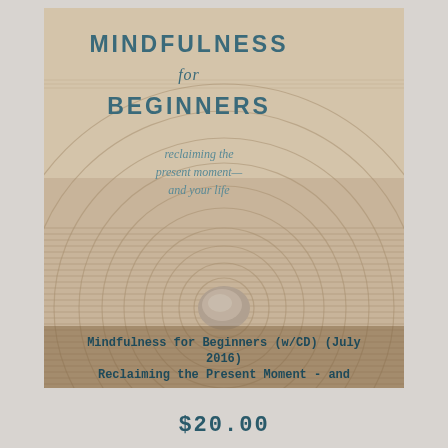[Figure (photo): Book cover for Mindfulness for Beginners with zen garden sand ripple pattern and stone, teal title text on sandy beige background]
Mindfulness for Beginners (w/CD) (July 2016)
Reclaiming the Present Moment - and Your Life
$20.00